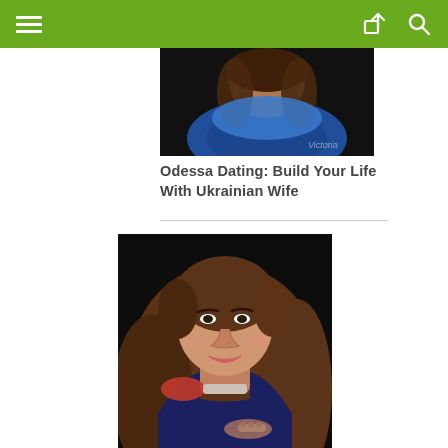Navigation header with hamburger menu, share icon, and search icon
[Figure (photo): Partial photo of a woman in a blue outfit, cropped at top of page]
Odessa Dating: Build Your Life With Ukrainian Wife
[Figure (photo): Photo of a young brunette woman smiling, with long straight hair, wearing a dark blue, red and white outfit with a bracelet, posing against a dark background]